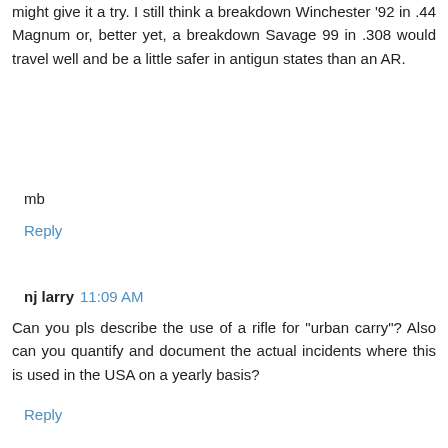might give it a try. I still think a breakdown Winchester '92 in .44 Magnum or, better yet, a breakdown Savage 99 in .308 would travel well and be a little safer in antigun states than an AR.
mb
Reply
nj larry  11:09 AM
Can you pls describe the use of a rifle for "urban carry"? Also can you quantify and document the actual incidents where this is used in the USA on a yearly basis?
Reply
Anonymous  7:00 AM
njlarry. the use would be self defense. For quantification, just look at the secret service and any other executive protection detail. They employ light compact "urban rifles"